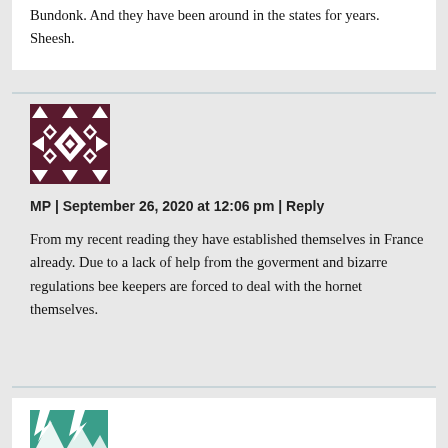Bundonk. And they have been around in the states for years. Sheesh.
[Figure (illustration): Geometric patterned avatar image in dark maroon/purple with white diamond and arrow shapes, square format]
MP | September 26, 2020 at 12:06 pm | Reply
From my recent reading they have established themselves in France already. Due to a lack of help from the goverment and bizarre regulations bee keepers are forced to deal with the hornet themselves.
[Figure (illustration): Partial avatar image in teal/green with white bird/lightning shape, partially visible at bottom of page]